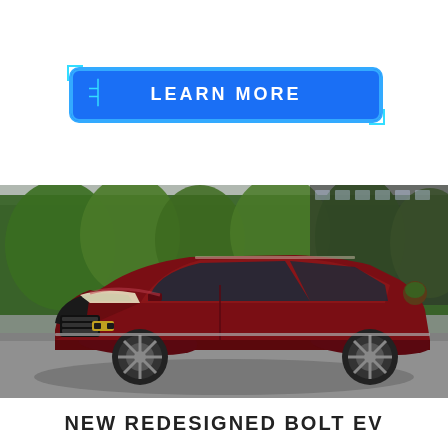[Figure (other): Blue rounded rectangular button with text LEARN MORE in white uppercase letters, with cyan border decoration and corner accents, on white background]
[Figure (photo): Photograph of a dark red/maroon Chevrolet Bolt EV electric car parked in a driveway with green trees and modern building in background]
NEW REDESIGNED BOLT EV